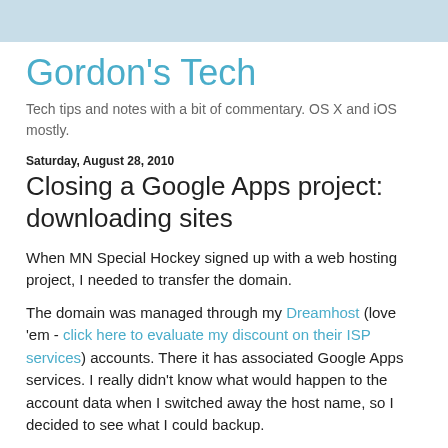Gordon's Tech
Tech tips and notes with a bit of commentary. OS X and iOS mostly.
Saturday, August 28, 2010
Closing a Google Apps project: downloading sites
When MN Special Hockey signed up with a web hosting project, I needed to transfer the domain.
The domain was managed through my Dreamhost (love 'em - click here to evaluate my discount on their ISP services) accounts. There it has associated Google Apps services. I really didn't know what would happen to the account data when I switched away the host name, so I decided to see what I could backup.